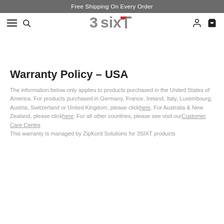Free Shipping On Every Order
[Figure (logo): 3SIXT brand logo with stylized text '3sixT' where the T has a red accent]
Warranty Policy – USA
The information below only applies to products purchased in the United States of America. For products purchased in Germany, France, Ireland, Italy, Luxembourg, Austria, Switzerland or United Kingdom, please click here. For Australia & New Zealand, please click here. For all other countries, please see visit our Customer Care Centre
This warranty is managed by ZipKord Solutions for 3SIXT products